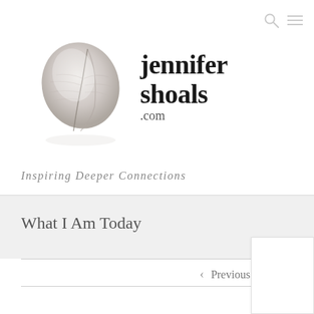[Figure (logo): Jennifer Shoals website header with feather illustration and site name 'jennifer shoals.com']
Inspiring Deeper Connections
What I Am Today
< Previous   Next >